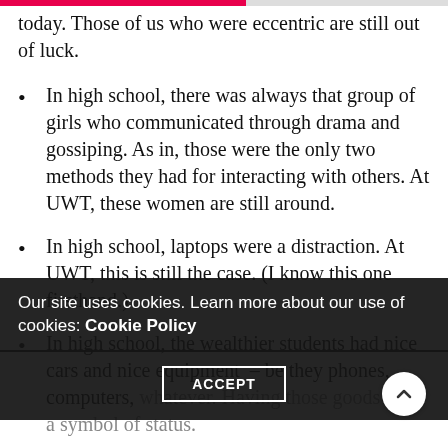today. Those of us who were eccentric are still out of luck.
In high school, there was always that group of girls who communicated through drama and gossiping. As in, those were the only two methods they had for interacting with others. At UWT, these women are still around.
In high school, laptops were a distraction. At UWT, this is still the case. (I know this one firsthand.)
In high school, the wealthier students had nice cars and nice equipment – be they phones, computers, whatever. Having those goods was a symbol of status.
I can remember very ranking students luck...
Our site uses cookies. Learn more about our use of cookies: Cookie Policy
ACCEPT